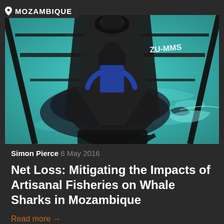[Figure (photo): Aerial view from a small ultralight aircraft (registration ZU-MMS visible) flying over turquoise ocean water, with a whale shark visible below the surface. A person in a blue shirt is seated in the aircraft cockpit visible in the foreground.]
Simon Pierce 6 May 2016
Net Loss: Mitigating the Impacts of Artisanal Fisheries on Whale Sharks in Mozambique
Read more →